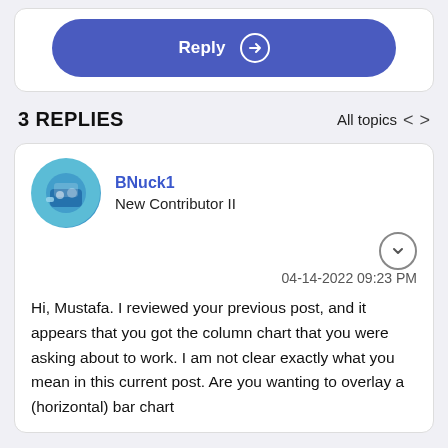Reply
3 REPLIES
All topics
BNuck1
New Contributor II
04-14-2022 09:23 PM
Hi, Mustafa.  I reviewed your previous post, and it appears that you got the column chart that you were asking about to work.  I am not clear exactly what you mean in this current post.  Are you wanting to overlay a (horizontal) bar chart over the column chart, or the reverse?  Also, I'd